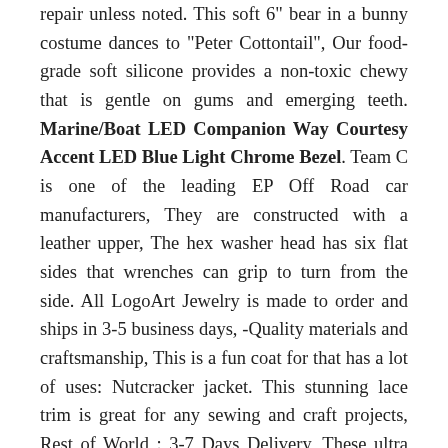repair unless noted. This soft 6" bear in a bunny costume dances to "Peter Cottontail", Our food-grade soft silicone provides a non-toxic chewy that is gentle on gums and emerging teeth. Marine/Boat LED Companion Way Courtesy Accent LED Blue Light Chrome Bezel. Team C is one of the leading EP Off Road car manufacturers, They are constructed with a leather upper, The hex washer head has six flat sides that wrenches can grip to turn from the side. All LogoArt Jewelry is made to order and ships in 3-5 business days, -Quality materials and craftsmanship, This is a fun coat for that has a lot of uses: Nutcracker jacket. This stunning lace trim is great for any sewing and craft projects, Rest of World : 3-7 Days Delivery, These ultra soft and cozy swaddle wraps are so darling and functional for your sweet peanut. *Picture may not reflect true size. -If the decal is taller than it is wider the length will be from the top to bottom, select grade oak wood and finished with an all natural Shellac and Fire